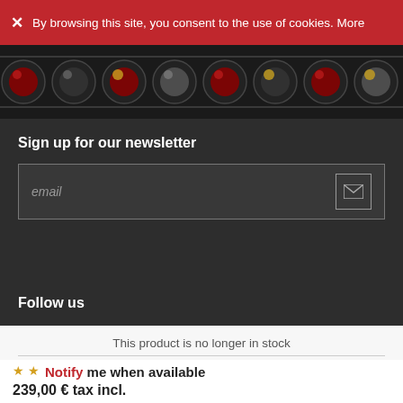X  By browsing this site, you consent to the use of cookies. More
[Figure (photo): Wine bottles viewed from above in a rack, showing circular bottoms in rows, with red, black, and gold foil tops on a dark background]
Sign up for our newsletter
email
Follow us
This product is no longer in stock
**Notify me when available
4.91
Adresse e-mail
OK
239,00 € tax incl.
199,17 € VAT Excl